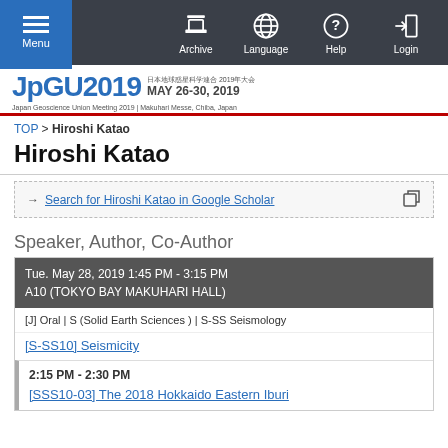Menu | Archive | Language | Help | Login
[Figure (logo): JpGU2019 logo - Japan Geoscience Union Meeting 2019, MAY 26-30, 2019, Makuhari Messe, Chiba, Japan]
TOP > Hiroshi Katao
Hiroshi Katao
→ Search for Hiroshi Katao in Google Scholar
Speaker, Author, Co-Author
Tue. May 28, 2019 1:45 PM - 3:15 PM
A10 (TOKYO BAY MAKUHARI HALL)
[J] Oral | S (Solid Earth Sciences ) | S-SS Seismology
[S-SS10] Seismicity
2:15 PM - 2:30 PM
[SSS10-03] The 2018 Hokkaido Eastern Iburi